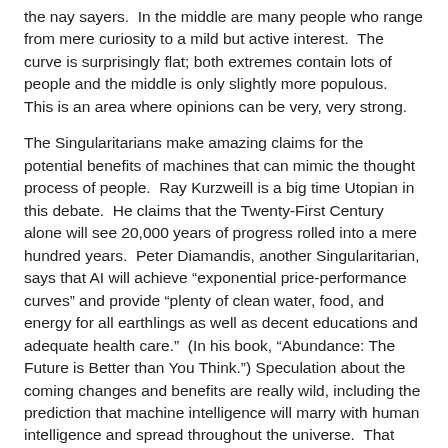the nay sayers.  In the middle are many people who range from mere curiosity to a mild but active interest.  The curve is surprisingly flat; both extremes contain lots of people and the middle is only slightly more populous.  This is an area where opinions can be very, very strong.
The Singularitarians make amazing claims for the potential benefits of machines that can mimic the thought process of people.  Ray Kurzweill is a big time Utopian in this debate.  He claims that the Twenty-First Century alone will see 20,000 years of progress rolled into a mere hundred years.  Peter Diamandis, another Singularitarian, says that AI will achieve “exponential price-performance curves” and provide “plenty of clean water, food, and energy for all earthlings as well as decent educations and adequate health care.”  (In his book, “Abundance: The Future is Better than You Think.”)  Speculation about the coming changes and benefits are really wild, including the prediction that machine intelligence will marry with human intelligence and spread throughout the universe.  That seems like a stretch.  I’ll spare you a full reading of some of the famous techies that are waxing poetic about this new computer revolution.